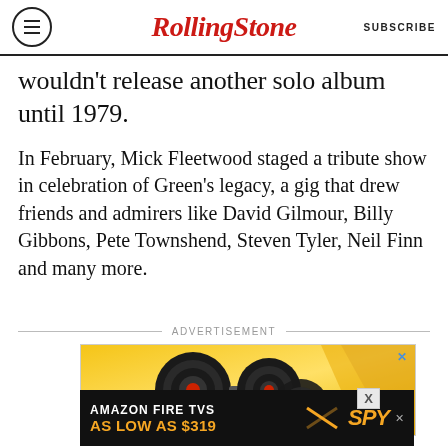RollingStone | SUBSCRIBE
wouldn't release another solo album until 1979.
In February, Mick Fleetwood staged a tribute show in celebration of Green's legacy, a gig that drew friends and admirers like David Gilmour, Billy Gibbons, Pete Townshend, Steven Tyler, Neil Finn and many more.
ADVERTISEMENT
[Figure (photo): Advertisement showing adjustable dumbbells on a yellow background]
[Figure (photo): Advertisement banner: AMAZON FIRE TVS AS LOW AS $319 with SPY logo]